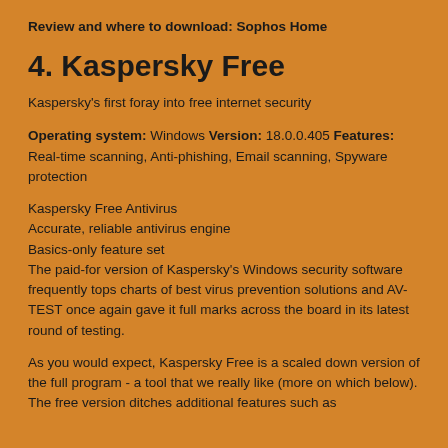Review and where to download: Sophos Home
4. Kaspersky Free
Kaspersky's first foray into free internet security
Operating system: Windows Version: 18.0.0.405 Features: Real-time scanning, Anti-phishing, Email scanning, Spyware protection
Kaspersky Free Antivirus
Accurate, reliable antivirus engine
Basics-only feature set
The paid-for version of Kaspersky's Windows security software frequently tops charts of best virus prevention solutions and AV-TEST once again gave it full marks across the board in its latest round of testing.
As you would expect, Kaspersky Free is a scaled down version of the full program - a tool that we really like (more on which below). The free version ditches additional features such as